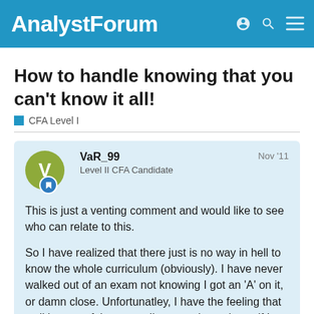AnalystForum
How to handle knowing that you can't know it all!
CFA Level I
VaR_99
Level II CFA Candidate
Nov '11
This is just a venting comment and would like to see who can relate to this.

So I have realized that there just is no way in hell to know the whole curriculum (obviously). I have never walked out of an exam not knowing I got an 'A' on it, or damn close. Unfortunatley, I have the feeling that walking out of that exam I'm not going to know if I passed or not. That must suck and then have to wait about 2 months to find out results on top of that.